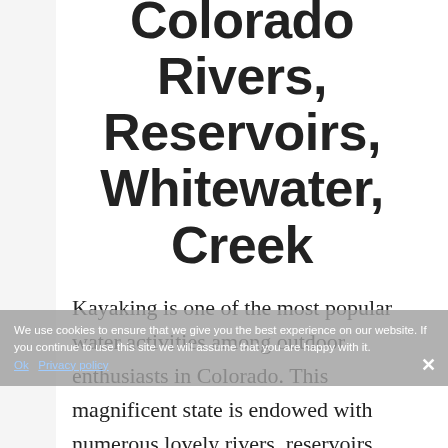Colorado Rivers, Reservoirs, Whitewater, Creek
Kayaking is one of the most popular water activities among outdoor enthusiasts in Colorado. This magnificent state is endowed with numerous lovely rivers, reservoirs, waterways, lakes,